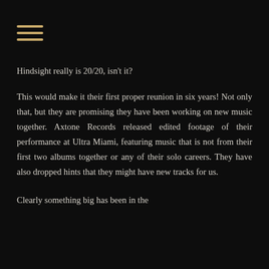[Figure (other): Hamburger menu icon with three horizontal lines in gold/tan color on dark background header]
Hindsight really is 20/20, isn't it?
This would make it their first proper reunion in six years! Not only that, but they are promising they have been working on new music together. Axtone Records released edited footage of their performance at Ultra Miami, featuring music that is not from their first two albums together or any of their solo careers. They have also dropped hints that they might have new tracks for us.
Clearly something big has been in the